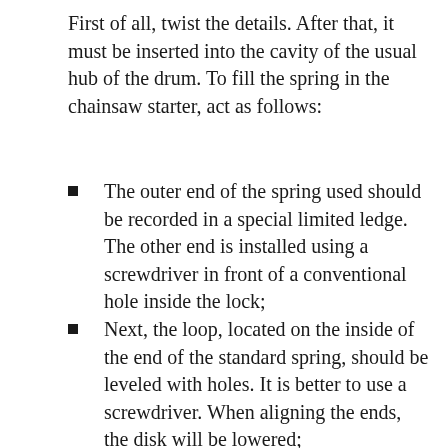First of all, twist the details. After that, it must be inserted into the cavity of the usual hub of the drum. To fill the spring in the chainsaw starter, act as follows:
The outer end of the spring used should be recorded in a special limited ledge. The other end is installed using a screwdriver in front of a conventional hole inside the lock;
Next, the loop, located on the inside of the end of the standard spring, should be leveled with holes. It is better to use a screwdriver. When aligning the ends, the disk will be lowered;
After installing the disk, make sure that the chainsaw is in place. Then you can assemble the ratchet in the reverse order